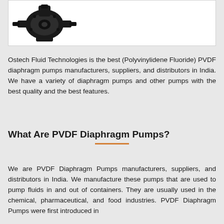[Figure (photo): Black PVDF diaphragm pump shown from above against white background]
Ostech Fluid Technologies is the best (Polyvinylidene Fluoride) PVDF diaphragm pumps manufacturers, suppliers, and distributors in India. We have a variety of diaphragm pumps and other pumps with the best quality and the best features.
What Are PVDF Diaphragm Pumps?
We are PVDF Diaphragm Pumps manufacturers, suppliers, and distributors in India. We manufacture these pumps that are used to pump fluids in and out of containers. They are usually used in the chemical, pharmaceutical, and food industries. PVDF Diaphragm Pumps were first introduced in